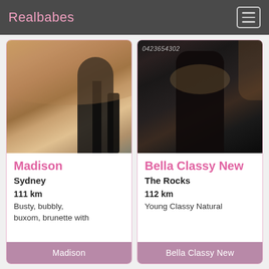Realbabes
[Figure (photo): Photo of person in black outfit on wooden floor]
Madison
Sydney
111 km
Busty, bubbly, buxom, brunette with
Madison
[Figure (photo): Photo of person in black outfit with watermark 0423654302]
Bella Classy New
The Rocks
112 km
Young Classy Natural
Bella Classy New